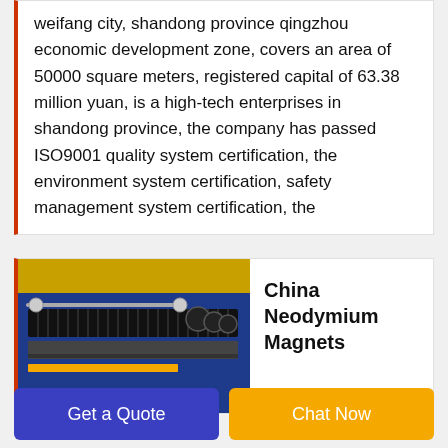weifang city, shandong province qingzhou economic development zone, covers an area of 50000 square meters, registered capital of 63.38 million yuan, is a high-tech enterprises in shandong province, the company has passed ISO9001 quality system certification, the environment system certification, safety management system certification, the
[Figure (photo): Photo of an industrial machine (appears to be a magnetic separator or similar manufacturing equipment) with blue frame and dark colored rollers/discs arranged in a row, on a yellow base.]
China Neodymium Magnets
Get a Quote
Chat Now